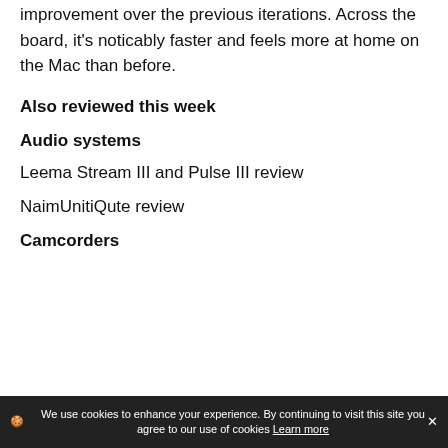improvement over the previous iterations. Across the board, it's noticably faster and feels more at home on the Mac than before.
Also reviewed this week
Audio systems
Leema Stream III and Pulse III review
NaimUnitiQute review
Camcorders
🍪 We use cookies to enhance your experience. By continuing to visit this site you agree to our use of cookies Learn more ✕